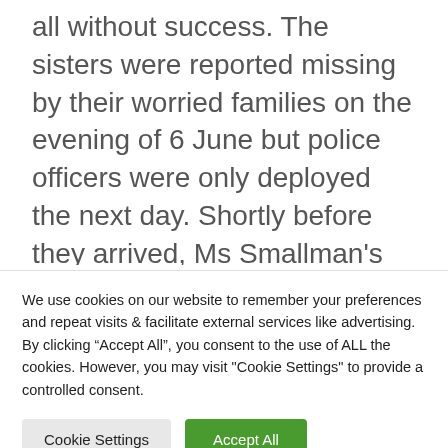all without success. The sisters were reported missing by their worried families on the evening of 6 June but police officers were only deployed the next day. Shortly before they arrived, Ms Smallman's partner Adam Stone found their bodies entwined in the
We use cookies on our website to remember your preferences and repeat visits & facilitate external services like advertising. By clicking “Accept All”, you consent to the use of ALL the cookies. However, you may visit "Cookie Settings" to provide a controlled consent.
Cookie Settings
Accept All